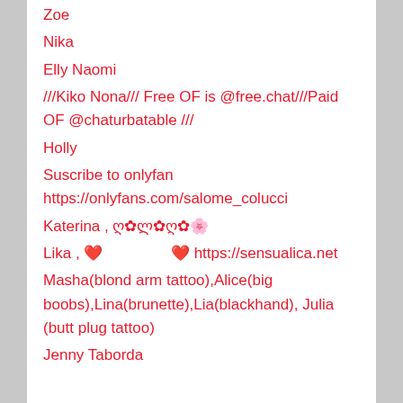Zoe
Nika
Elly Naomi
///Kiko Nona/// Free OF is @free.chat///Paid OF @chaturbatable ///
Holly
Suscribe to onlyfan https://onlyfans.com/salome_colucci
Katerina , ღ✿ლ✿ღ✿🌸
Lika , ❤️                    ❤️ https://sensualica.net
Masha(blond arm tattoo),Alice(big boobs),Lina(brunette),Lia(blackhand), Julia (butt plug tattoo)
Jenny Taborda